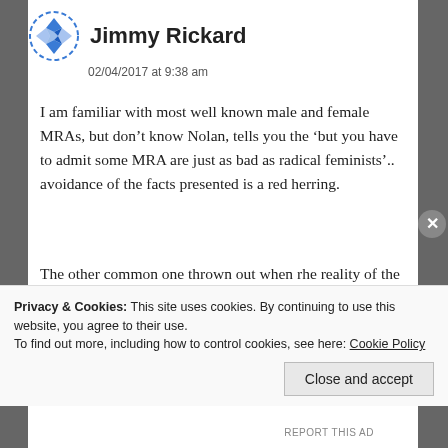[Figure (logo): Blue diamond/rhombus pattern avatar icon in a dashed circle border]
Jimmy Rickard
02/04/2017 at 9:38 am
I am familiar with most well known male and female MRAs, but don’t know Nolan, tells you the ‘but you have to admit some MRA are just as bad as radical feminists’.. avoidance of the facts presented is a red herring.
The other common one thrown out when rhe reality of the disadvantages men face are undeniable is; ‘angry and/or bitter MEN’. To which I reply that i estimate10-20% of members are women and general support is higher again. Also for any awareness and activist campaign it is normal for the
Privacy & Cookies: This site uses cookies. By continuing to use this website, you agree to their use.
To find out more, including how to control cookies, see here: Cookie Policy
Close and accept